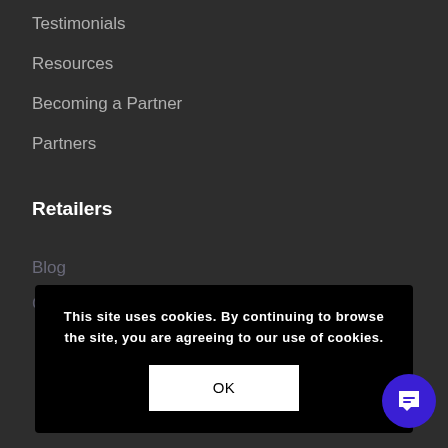Testimonials
Resources
Becoming a Partner
Partners
Retailers
Blog
Contact Us
This site uses cookies. By continuing to browse the site, you are agreeing to our use of cookies.
OK